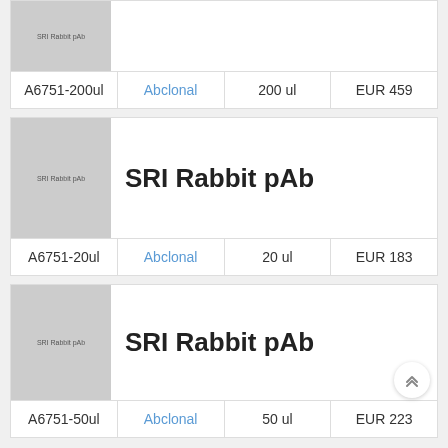[Figure (other): Product image placeholder for SRI Rabbit pAb (partially visible top card)]
| SKU | Supplier | Volume | Price |
| --- | --- | --- | --- |
| A6751-200ul | Abclonal | 200 ul | EUR 459 |
[Figure (other): Product image placeholder for SRI Rabbit pAb]
SRI Rabbit pAb
| SKU | Supplier | Volume | Price |
| --- | --- | --- | --- |
| A6751-20ul | Abclonal | 20 ul | EUR 183 |
[Figure (other): Product image placeholder for SRI Rabbit pAb]
SRI Rabbit pAb
| SKU | Supplier | Volume | Price |
| --- | --- | --- | --- |
| A6751-50ul | Abclonal | 50 ul | EUR 223 |